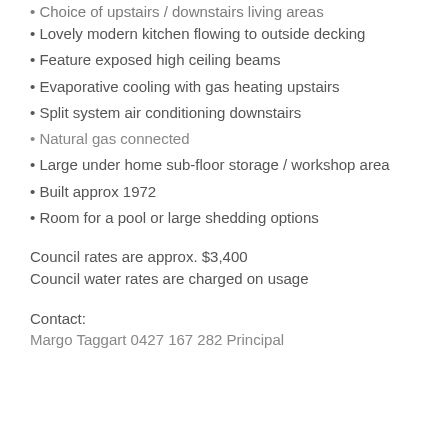Lovely modern kitchen flowing to outside decking
Feature exposed high ceiling beams
Evaporative cooling with gas heating upstairs
Split system air conditioning downstairs
Natural gas connected
Large under home sub-floor storage / workshop area
Built approx 1972
Room for a pool or large shedding options
Council rates are approx. $3,400
Council water rates are charged on usage
Contact:
Margo Taggart 0427 167 282 Principal